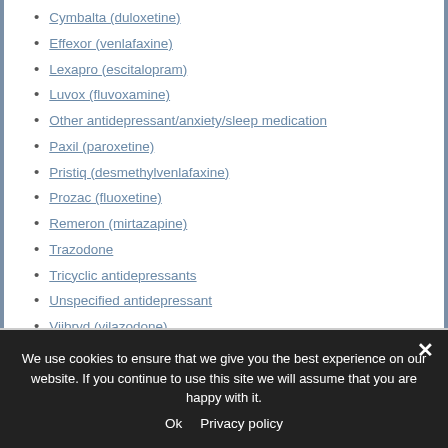Cymbalta (duloxetine)
Effexor (venlafaxine)
Lexapro (escitalopram)
Luvox (fluvoxamine)
Other antidepressant/anxiety/sleep medication
Paxil (paroxetine)
Pristiq (desmethylvenlafaxine)
Prozac (fluoxetine)
Remeron (mirtazapine)
Trazodone
Tricyclic antidepressants
Unspecified antidepressant
Viibryd (vilazodone)
Wellbutrin (bupropion)
Zoloft (sertraline)
We use cookies to ensure that we give you the best experience on our website. If you continue to use this site we will assume that you are happy with it.
Ok   Privacy policy